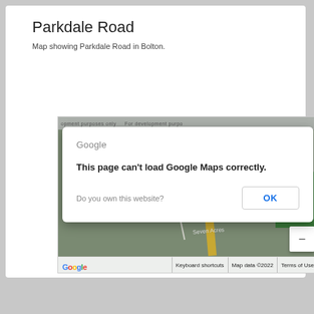Parkdale Road
Map showing Parkdale Road in Bolton.
[Figure (screenshot): Google Maps embed showing Parkdale Road in Bolton, with a Google Maps error dialog overlay reading 'This page can’t load Google Maps correctly.' with an OK button, and map UI elements including zoom control, Google logo, keyboard shortcuts, map data ©2022, and Terms of Use footer.]